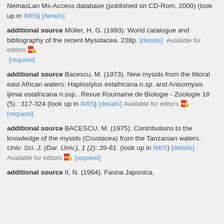NemasLan Ms-Access database (published on CD-Rom, 2000) (look up in IMIS) [details]
additional source Müller, H. G. (1993). World catalogue and bibliography of the recent Mysidacea. 238p. [details] Available for editors [request]
additional source Bacescu, M. (1973). New mysids from the littoral east African waters: Haplostylus estafricana n.sp. and Anisomysis ijimai estafricana n.ssp.. Revue Roumaine de Biologie - Zoologie 18 (5) : 317-324 (look up in IMIS) [details] Available for editors [request]
additional source BACESCU, M. (1975). Contributions to the knowledge of the mysids (Crustacea) from the Tanzanian waters. Univ. Sci. J. (Dar. Univ.), 1 (2): 39-61. (look up in IMIS) [details] Available for editors [request]
additional source II, N. (1964). Fauna Japonica,